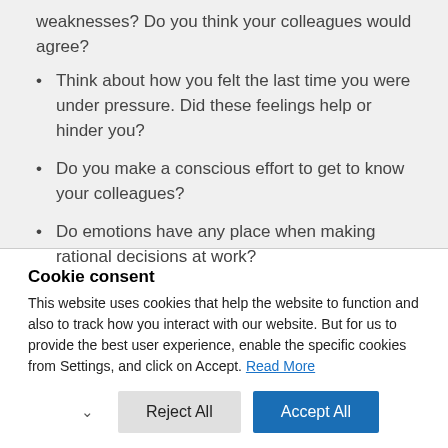weaknesses? Do you think your colleagues would agree?
Think about how you felt the last time you were under pressure. Did these feelings help or hinder you?
Do you make a conscious effort to get to know your colleagues?
Do emotions have any place when making rational decisions at work?
Cookie consent
This website uses cookies that help the website to function and also to track how you interact with our website. But for us to provide the best user experience, enable the specific cookies from Settings, and click on Accept. Read More